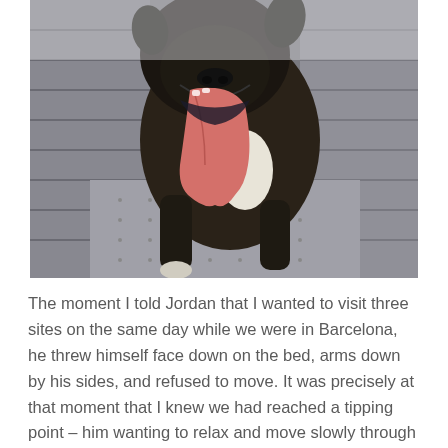[Figure (photo): Close-up photo of a brindle/dark-coated dog with a very long pink tongue hanging out of its mouth, standing on a wooden deck. The dog appears to be a Boxer or similar breed, with black and white markings visible on its chest.]
The moment I told Jordan that I wanted to visit three sites on the same day while we were in Barcelona, he threw himself face down on the bed, arms down by his sides, and refused to move. It was precisely at that moment that I knew we had reached a tipping point – him wanting to relax and move slowly through each place, and me wanting to take